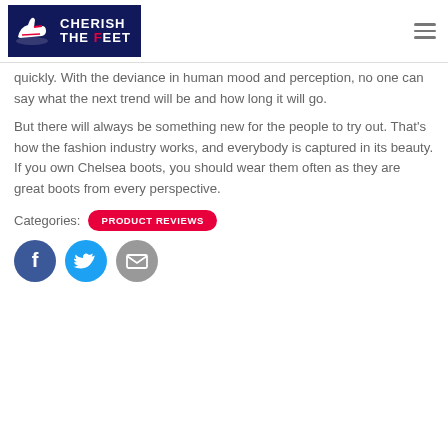[Figure (logo): Cherish The Feet logo — dark navy background with white shoe illustration and white bold text CHERISH THE FEET, with F in red]
quickly. With the deviance in human mood and perception, no one can say what the next trend will be and how long it will go.
But there will always be something new for the people to try out. That's how the fashion industry works, and everybody is captured in its beauty. If you own Chelsea boots, you should wear them often as they are great boots from every perspective.
Categories: PRODUCT REVIEWS
[Figure (other): Social share buttons: Facebook (blue circle with f), Twitter (light blue circle with bird), Email (grey circle with envelope)]